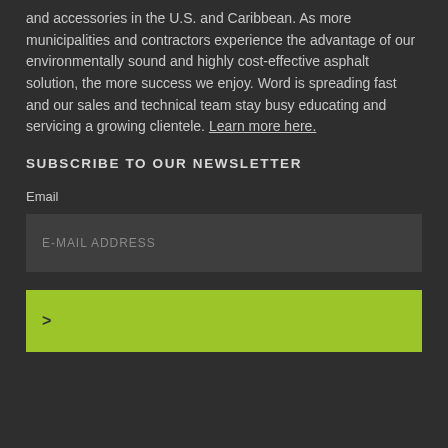and accessories in the U.S. and Caribbean. As more municipalities and contractors experience the advantage of our environmentally sound and highly cost-effective asphalt solution, the more success we enjoy. Word is spreading fast and our sales and technical team stay busy educating and servicing a growing clientele. Learn more here.
SUBSCRIBE TO OUR NEWSLETTER
Email
E-MAIL ADDRESS
>